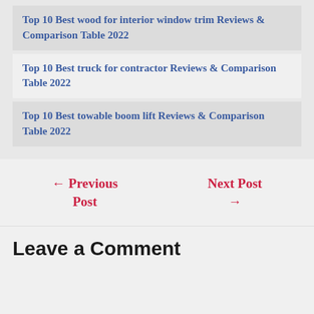Top 10 Best wood for interior window trim Reviews & Comparison Table 2022
Top 10 Best truck for contractor Reviews & Comparison Table 2022
Top 10 Best towable boom lift Reviews & Comparison Table 2022
← Previous Post
Next Post →
Leave a Comment